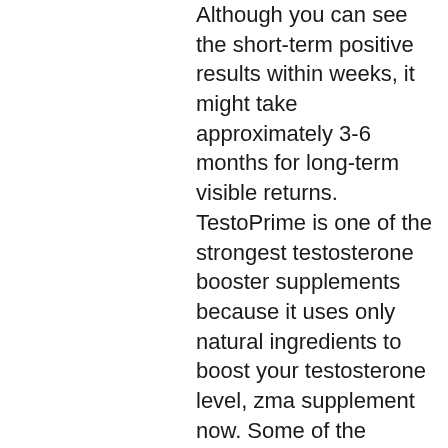Although you can see the short-term positive results within weeks, it might take approximately 3-6 months for long-term visible returns. TestoPrime is one of the strongest testosterone booster supplements because it uses only natural ingredients to boost your testosterone level, zma supplement now. Some of the ingredients present in the product include Boswellia Resin Extract, Tongkat Ali, Ashwagandha, Shilajit, Red Ginseng, zma supplement now. Supplementing with iodine might be a good strategy for protecting against hypothyroidism and boosting testosterone then, brutal anadrol opiniones. Preventative and possible cure for parkinson's disease in men. Impact of recent fda ruling on testosterone replacement therapy (trt). Department of urology, johns hopkins school of. With antidepressant medication), parkinson disease or heart failure. Bhrt or